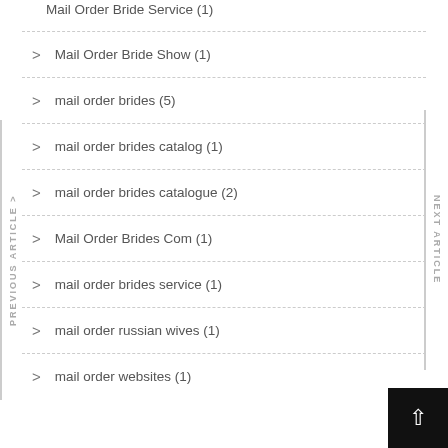Mail Order Bride Service (1)
Mail Order Bride Show (1)
mail order brides (5)
mail order brides catalog (1)
mail order brides catalogue (2)
Mail Order Brides Com (1)
mail order brides service (1)
mail order russian wives (1)
mail order websites (1)